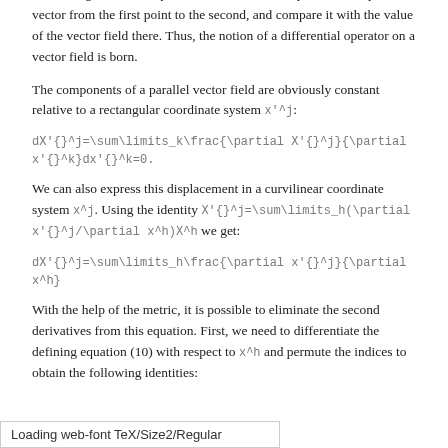parallel vector field; i.e., assigning the same vector to each point in space. Because of this, it also makes sense to talk about how a vector field changes from one point to the next; we can parallel-transport a vector from the first point to the second, and compare it with the value of the vector field there. Thus, the notion of a differential operator on a vector field is born.
The components of a parallel vector field are obviously constant relative to a rectangular coordinate system x'^j:
We can also express this displacement in a curvilinear coordinate system x^j. Using the identity X'^{j}=\sum\limits_h(\partial x'^{j}/\partial x^h)X^h we get:
With the help of the metric, it is possible to eliminate the second derivatives from this equation. First, we need to differentiate the defining equation (10) with respect to x^h and permute the indices to obtain the following identities:
Loading web-font TeX/Size2/Regular